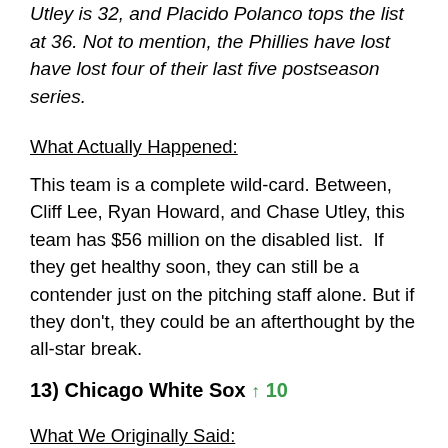Ruiz, Ryan Howard, and Jimmy Rollins are 30, Chase Utley is 32, and Placido Polanco tops the list at 36. Not to mention, the Phillies have lost have lost four of their last five postseason series.
What Actually Happened:
This team is a complete wild-card. Between, Cliff Lee, Ryan Howard, and Chase Utley, this team has $56 million on the disabled list.  If they get healthy soon, they can still be a contender just on the pitching staff alone. But if they don't, they could be an afterthought by the all-star break.
13) Chicago White Sox ↑ 10
What We Originally Said:
Upside: General Manager Ken Williams also showed a desire to rebuild his club by getting rid of longtime White